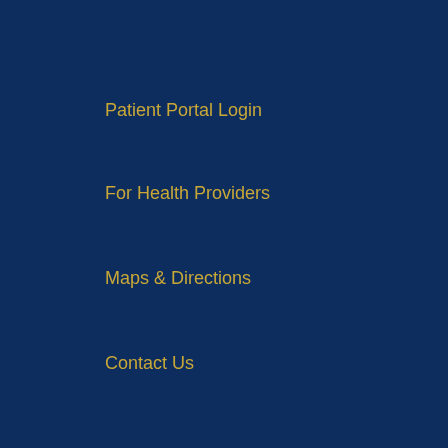Patient Portal Login
For Health Providers
Maps & Directions
Contact Us
About Us
Make a Gift
Michigan Medicine Careers
News
Volunteer